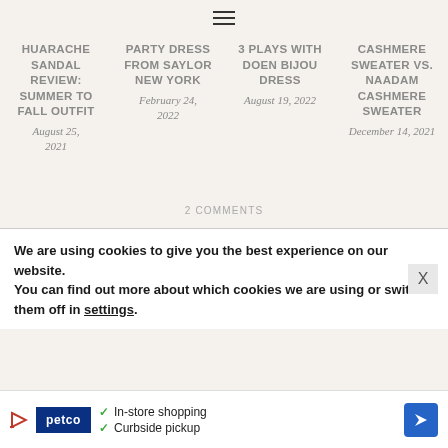☰
HUARACHE SANDAL REVIEW: SUMMER TO FALL OUTFIT
August 25, 2021
PARTY DRESS FROM SAYLOR NEW YORK
February 24, 2022
3 PLAYS WITH DOEN BIJOU DRESS
August 19, 2022
CASHMERE SWEATER VS. NAADAM CASHMERE SWEATER
December 14, 2021
2 COMMENTS
We are using cookies to give you the best experience on our website.
You can find out more about which cookies we are using or switch them off in settings.
[Figure (infographic): Petco advertisement banner with play icon, petco blue badge, checkmarks for In-store shopping and Curbside pickup, and a blue navigation arrow icon]